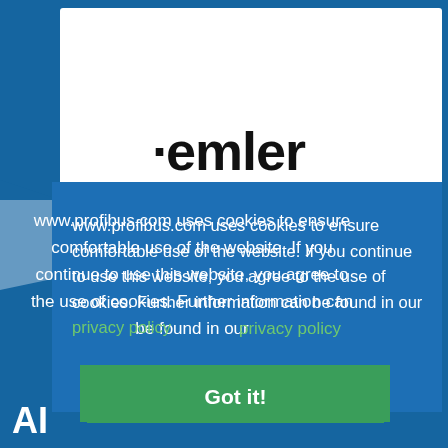[Figure (screenshot): Partial website screenshot showing a cookie consent dialog overlay on www.profibus.com. The background has a white card with partial logo text visible ('-emler' or similar). A blue overlay dialog contains cookie usage text and a green 'Got it!' button. An 'AI' logo appears in the bottom-left corner.]
www.profibus.com uses cookies to ensure comfortable use of the website. If you continue to use this website, you agree to the use of cookies. Further information can be found in our privacy policy
Got it!